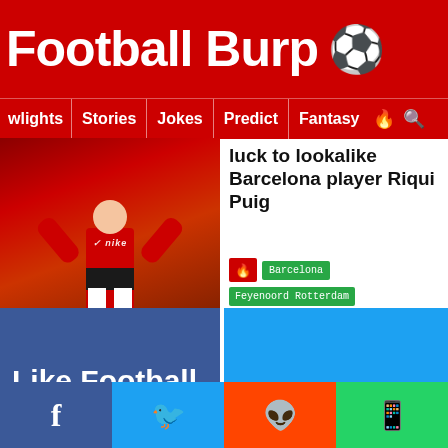Football Burp
wlights | Stories | Jokes | Predict | Fantasy
luck to lookalike Barcelona player Riqui Puig
Barcelona  Feyenoord Rotterdam
Like Football Burp on Facebook
Follow us on Twitter
VIDEO: Pitch invader chased by stewards during pre-season friendly at Farsley Celtic
Farsley Celtic  Halifax Town
f  (twitter bird)  (reddit)  (whatsapp)